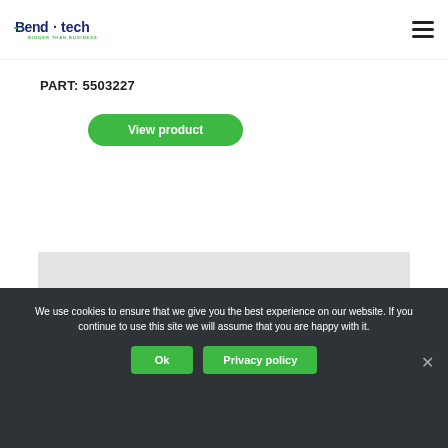Bend-tech BIGGER THAN BUSINESS
PART: 5503227
View product
[Figure (photo): Product image showing a red clamp or tool piece on a yellow/orange surface against a light grey background]
We use cookies to ensure that we give you the best experience on our website. If you continue to use this site we will assume that you are happy with it.
Ok
Privacy policy